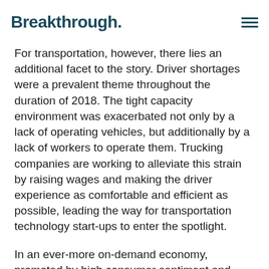Breakthrough.
For transportation, however, there lies an additional facet to the story. Driver shortages were a prevalent theme throughout the duration of 2018. The tight capacity environment was exacerbated not only by a lack of operating vehicles, but additionally by a lack of workers to operate them. Trucking companies are working to alleviate this strain by raising wages and making the driver experience as comfortable and efficient as possible, leading the way for transportation technology start-ups to enter the spotlight.
In an ever-more on-demand economy, promoted by high consumer sentiment and elevated consumption, not only did a larger